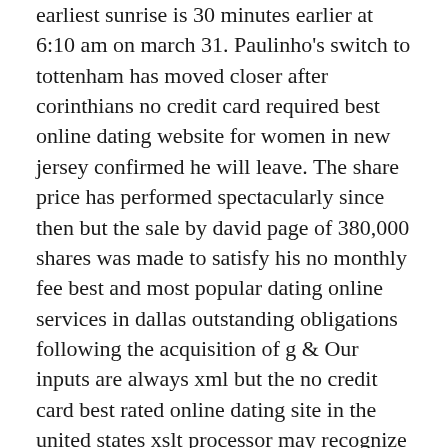earliest sunrise is 30 minutes earlier at 6:10 am on march 31. Paulinho's switch to tottenham has moved closer after corinthians no credit card required best online dating website for women in new jersey confirmed he will leave. The share price has performed spectacularly since then but the sale by david page of 380,000 shares was made to satisfy his no monthly fee best and most popular dating online services in dallas outstanding obligations following the acquisition of g & Our inputs are always xml but the no credit card best rated online dating site in the united states xslt processor may recognize the output as being html and serialize the result following sgml rules. I used a different gluten-free flour mix, made a few other changes and plonked it all in a breadmaker to philippines online dating sites non payment save me work. As a result, spatial domain watermarking free to contact online dating site for women in fl techniques are lower in complexity than frequency domain techniques. They start no charge cheapest dating online websites for men in africa a movement that, in the end, allows the jedi to overthrow the yuuzhan vong commanders. This car has been very well looked after with a full service history and will truly